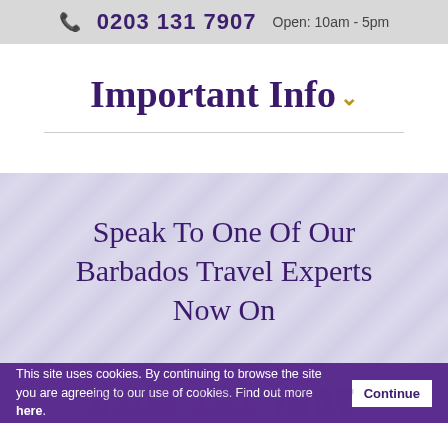0203 131 7907   Open: 10am - 5pm
Important Info
Speak To One Of Our Barbados Travel Experts Now On
This site uses cookies. By continuing to browse the site you are agreeing to our use of cookies. Find out more here.  Continue